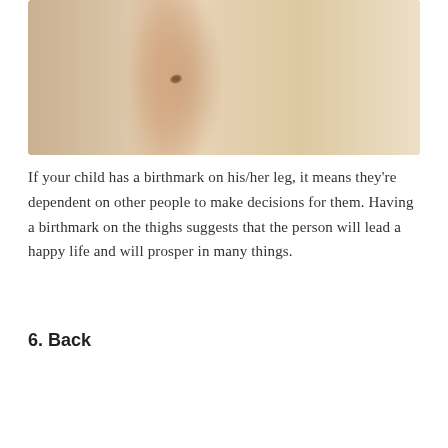[Figure (photo): Close-up photo of a person's leg showing a small brown birthmark on the skin]
If your child has a birthmark on his/her leg, it means they're dependent on other people to make decisions for them. Having a birthmark on the thighs suggests that the person will lead a happy life and will prosper in many things.
6. Back
[Figure (photo): Photo of a person's bare back/torso showing a small dark birthmark on the skin]